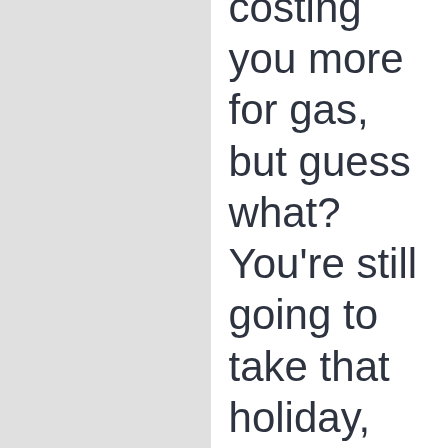costing you more for gas, but guess what? You're still going to take that holiday, that Fourth of July vacation, you can still eat out, so I'm gonna